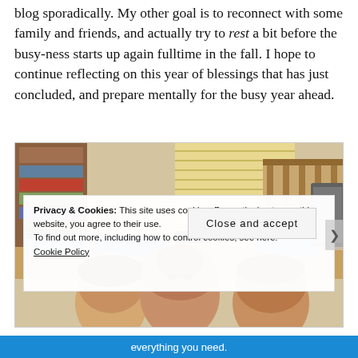blog sporadically. My other goal is to reconnect with some family and friends, and actually try to rest a bit before the busy-ness starts up again fulltime in the fall. I hope to continue reflecting on this year of blessings that has just concluded, and prepare mentally for the busy year ahead.
[Figure (photo): Indoor scene showing people peeking above a table, with a crib, bookshelf, and miscellaneous items visible in the background]
Privacy & Cookies: This site uses cookies. By continuing to use this website, you agree to their use.
To find out more, including how to control cookies, see here:
Cookie Policy
Close and accept
everything you need.